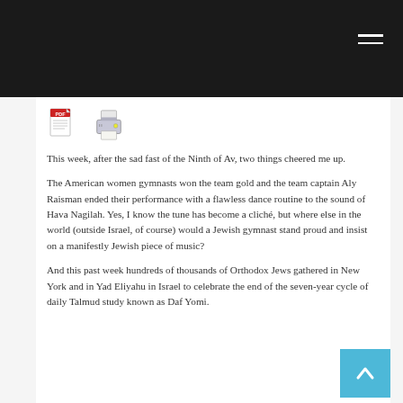[Figure (illustration): PDF icon and printer icon side by side]
This week, after the sad fast of the Ninth of Av, two things cheered me up.
The American women gymnasts won the team gold and the team captain Aly Raisman ended their performance with a flawless dance routine to the sound of Hava Nagilah. Yes, I know the tune has become a cliché, but where else in the world (outside Israel, of course) would a Jewish gymnast stand proud and insist on a manifestly Jewish piece of music?
And this past week hundreds of thousands of Orthodox Jews gathered in New York and in Yad Eliyahu in Israel to celebrate the end of the seven-year cycle of daily Talmud study known as Daf Yomi.